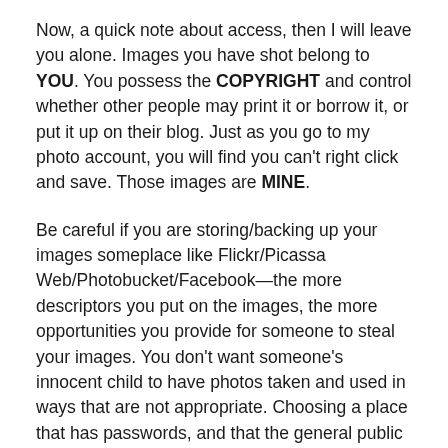Now, a quick note about access, then I will leave you alone. Images you have shot belong to YOU. You possess the COPYRIGHT and control whether other people may print it or borrow it, or put it up on their blog. Just as you go to my photo account, you will find you can't right click and save. Those images are MINE.
Be careful if you are storing/backing up your images someplace like Flickr/Picassa Web/Photobucket/Facebook—the more descriptors you put on the images, the more opportunities you provide for someone to steal your images. You don't want someone's innocent child to have photos taken and used in ways that are not appropriate. Choosing a place that has passwords, and that the general public can't just peer around in is something to consider.